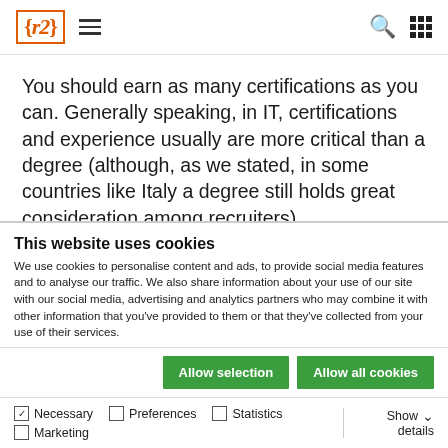{r2} [hamburger menu] [search icon] [grid icon]
You should earn as many certifications as you can. Generally speaking, in IT, certifications and experience usually are more critical than a degree (although, as we stated, in some countries like Italy a degree still holds great consideration among recruiters).
This website uses cookies
We use cookies to personalise content and ads, to provide social media features and to analyse our traffic. We also share information about your use of our site with our social media, advertising and analytics partners who may combine it with other information that you've provided to them or that they've collected from your use of their services.
Allow selection | Allow all cookies
Necessary  Preferences  Statistics  Marketing  Show details